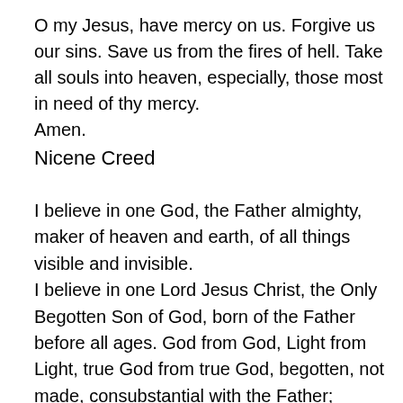O my Jesus, have mercy on us. Forgive us our sins. Save us from the fires of hell. Take all souls into heaven, especially, those most in need of thy mercy.
Amen.
Nicene Creed
I believe in one God, the Father almighty, maker of heaven and earth, of all things visible and invisible.
I believe in one Lord Jesus Christ, the Only Begotten Son of God, born of the Father before all ages. God from God, Light from Light, true God from true God, begotten, not made, consubstantial with the Father; through him all things were made. For us men and for our salvation he came down from heaven,
and by the Holy Spirit was incarnate of the Virgin Mary, and became man.